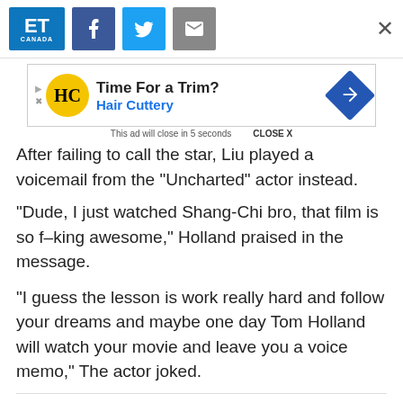ET Canada | Facebook share | Twitter share | Email share | Close
[Figure (screenshot): Advertisement banner for Hair Cuttery: 'Time For a Trim? Hair Cuttery' with logo and navigation arrow icon. Note: 'This ad will close in 5 seconds  CLOSE X']
After failing to call the star, Liu played a voicemail from the “Uncharted” actor instead.
“Dude, I just watched Shang-Chi bro, that film is so f–king awesome,” Holland praised in the message.
“I guess the lesson is work really hard and follow your dreams and maybe one day Tom Holland will watch your movie and leave you a voice memo,” The actor joked.
READ MORE: Simu Liu Shows Off His New Bleach-Blond Hair Highlights: ‘Sorry Ma’